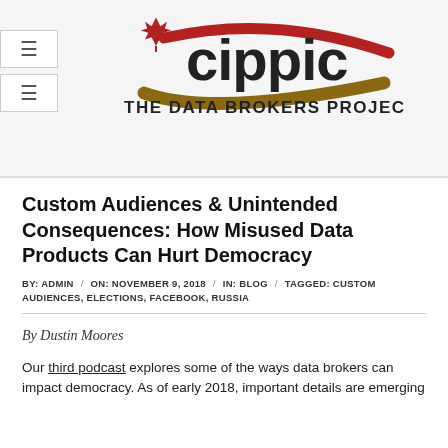[Figure (logo): CIPPIC logo with maple leaf and swoosh design, above text 'THE DATA BROKERS PROJECT']
Custom Audiences & Unintended Consequences: How Misused Data Products Can Hurt Democracy
BY: ADMIN / ON: NOVEMBER 9, 2018 / IN: BLOG / TAGGED: CUSTOM AUDIENCES, ELECTIONS, FACEBOOK, RUSSIA
By Dustin Moores
Our third podcast explores some of the ways data brokers can impact democracy. As of early 2018, important details are emerging...